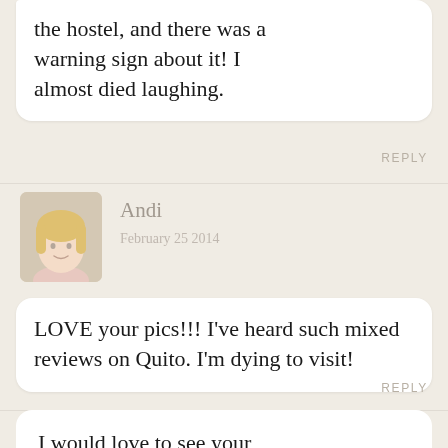the hostel, and there was a warning sign about it! I almost died laughing.
REPLY
Andi
February 25 2014
LOVE your pics!!! I’ve heard such mixed reviews on Quito. I’m dying to visit!
REPLY
Alex
February 26 2014
I would love to see your